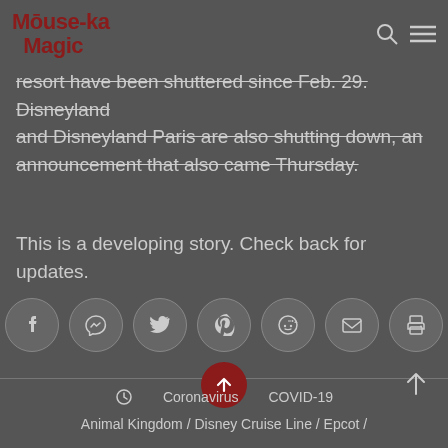Mouse-ka Magic
resort have been shuttered since Feb. 29. Disneyland and Disneyland Paris are also shutting down, an announcement that also came Thursday.
This is a developing story. Check back for updates.
[Figure (other): Social share buttons row: Facebook, Messenger, Twitter, Pinterest, Reddit, Email, Print]
[Figure (other): Red circular up/scroll button with arrow icon]
Coronavirus   COVID-19
Animal Kingdom / Disney Cruise Line / Epcot /